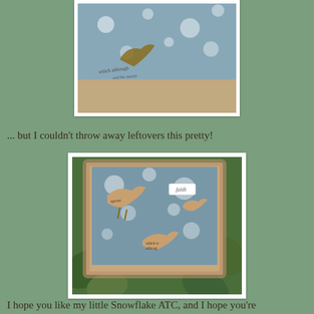[Figure (photo): Close-up photo of a handmade craft piece with a rustic sandy/beige textured frame and blue background with snowflake patterns, partially cropped at top]
... but I couldn't throw away leftovers this pretty!
[Figure (photo): Photo of a handmade ATC (Artist Trading Card) with a blue snowflake-patterned background, bird silhouettes cut from vintage text paper, a small tag reading 'faith', text fragments 'which w' and 'although', set against green ivy leaves]
I hope you like my little Snowflake ATC, and I hope you're